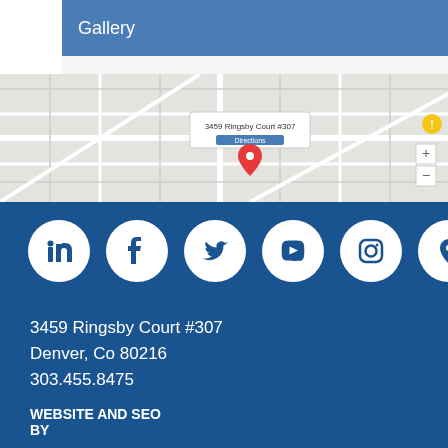Gallery
[Figure (map): Google Maps showing location at 3459 Ringsby Court #307, Denver, CO 80216 with a red map pin marker]
[Figure (infographic): Row of social media icon circles: LinkedIn, Facebook, Twitter, YouTube, Instagram, Google Maps location pin]
3459 Ringsby Court #307
Denver, Co 80216
303.455.8475
WEBSITE AND SEO
BY
NATIVE RANK